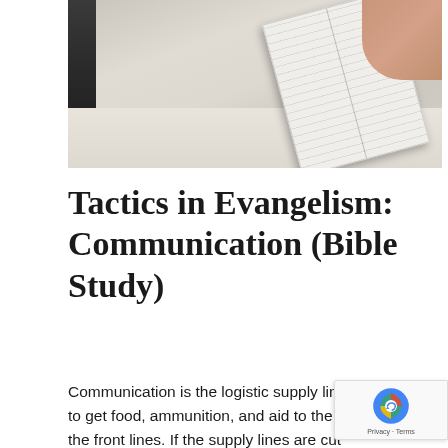[Figure (photo): A photo showing an open book/Bible being held by a hand, placed on a light-colored wooden or laminate floor. A dark book spine is visible on the left side.]
Tactics in Evangelism: Communication (Bible Study)
Communication is the logistic supply line that exists to get food, ammunition, and aid to the troops on the front lines. If the supply lines are cut